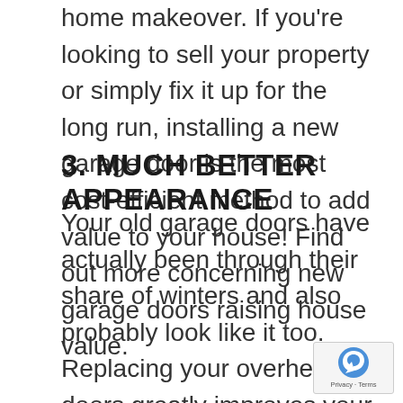home makeover. If you're looking to sell your property or simply fix it up for the long run, installing a new garage door is the most cost-efficient method to add value to your house! Find out more concerning new garage doors raising house value.
3. MUCH BETTER APPEARANCE
Your old garage doors have actually been through their share of winters and also probably look like it too. Replacing your overhead doors greatly improves your home's appearance. Better appeal, safety, and security as well as insulation all add to a higher property value. you're thinking about selling your home, replacement garage door panels are a cost-